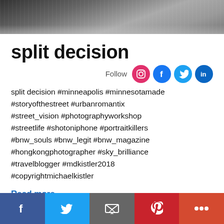[Figure (photo): Black and white street photo, top portion visible]
split decision
Follow [Instagram] [Facebook] [Twitter] [LinkedIn]
split decision #minneapolis #minnesotamade #storyofthestreet #urbanromantix #street_vision #photographyworkshop #streetlife #shotoniphone #portraitkillers #bnw_souls #bnw_legit #bnw_magazine #hongkongphotographer #sky_brilliance #travelblogger #mdkistler2018 #copyrightmichaelkistler
Read more
Facebook | Twitter | Email | Pinterest | More